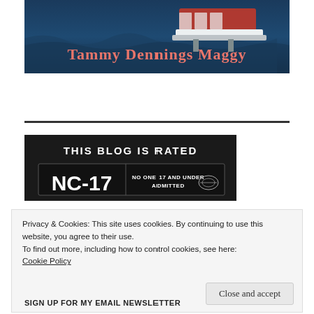[Figure (photo): Blog header banner image showing a lifeboat or rescue vessel on stormy ocean waves with text 'Tammy Dennings Maggy' in coral/pink serif font overlaid on the image.]
[Figure (illustration): NC-17 blog rating badge on black background. Text reads 'THIS BLOG IS RATED' above an NC-17 movie-style rating box that says 'NO ONE 17 AND UNDER ADMITTED' with film rating logo.]
Privacy & Cookies: This site uses cookies. By continuing to use this website, you agree to their use.
To find out more, including how to control cookies, see here:
Cookie Policy
Close and accept
SIGN UP FOR MY EMAIL NEWSLETTER